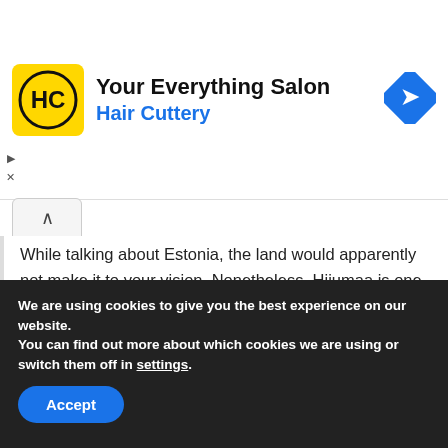[Figure (screenshot): Advertisement banner for Hair Cuttery 'Your Everything Salon' with yellow HC logo, blue navigation arrow icon on the right, and ad controls (play and close) on the left side.]
While talking about Estonia, the land would apparently not make it to your vision. Nonetheless, Hiiumaa is one of the lands in Estonia. Visitors can reach this beautiful part of the land by getting a flat from Tallinn. Whereas to avail of these vessels from various seaside towns. Hiiumaa Is a large area to encourage for recreation. There is a lightship from the 19th century of shooting iron recognized as the Tahkuna Lighthouse. It is the
We are using cookies to give you the best experience on our website.
You can find out more about which cookies we are using or switch them off in settings.
Accept